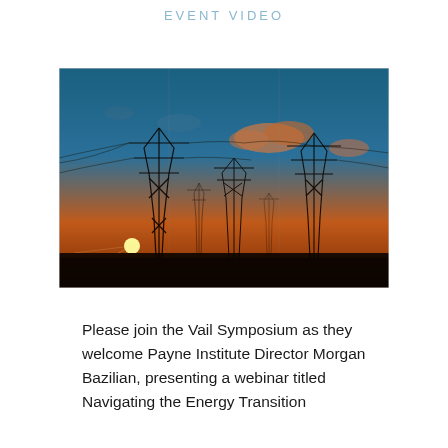EVENT VIDEO
[Figure (photo): Silhouette of multiple electricity transmission towers/pylons against a dramatic sunset sky with orange and blue hues and scattered clouds. Electric power lines run between the towers.]
Please join the Vail Symposium as they welcome Payne Institute Director Morgan Bazilian, presenting a webinar titled Navigating the Energy Transition